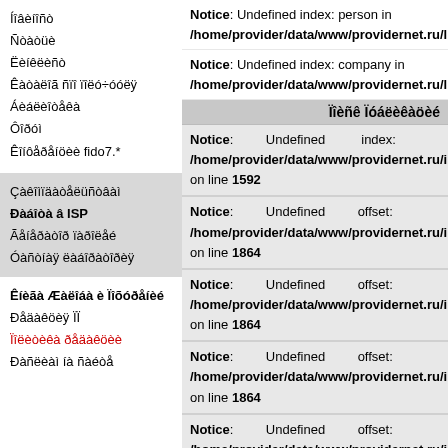Íîâèíîñò
Ñòàòüè
Ëèíêëèñò
Êàòàëîã ñïî ïîëó÷óóëÿ
Áèáëèîòåêà
Ôîðóì
Êîíôåðåíöèè fido7.*
Çàêîìïäàòåëüñòâàì
Ðàáîòà â ISP
Ãåíåðàòîð ïàðîëåé
Óàñòíàÿ ëàáîðàòîðèÿ
Êíèãà Æàëîáà è Ïîõóðåíèé
Ðåäàêöèÿ ÏÏ
Ïîëèòèêà ðåäàêöèè
Ðàñëèàì íà ñàéòå
Notice: Undefined index: person in /home/provider/data/www/providernet.ru/libra
Notice: Undefined index: company in /home/provider/data/www/providernet.ru/libra
Ïîèñê Ïóáëèêàöèé
Notice: Undefined index: /home/provider/data/www/providernet.ru/incl on line 1592
Notice: Undefined offset: /home/provider/data/www/providernet.ru/incl on line 1864
Notice: Undefined offset: /home/provider/data/www/providernet.ru/incl on line 1864
Notice: Undefined offset: /home/provider/data/www/providernet.ru/incl on line 1864
Notice: Undefined offset: /home/provider/data/www/providernet.ru/incl on line 1864
Notice: Undefined offset: /home/provider/data/www/providernet.ru/incl